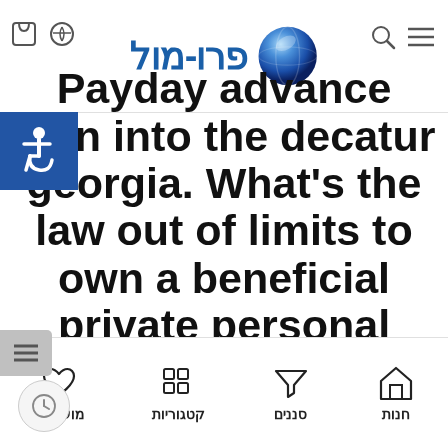פרו-מול
Payday advance loan into the decatur georgia. What's the law out of limits to own a beneficial private personal debt into the ca
חנות | סננים | קטגוריות | מועדפים